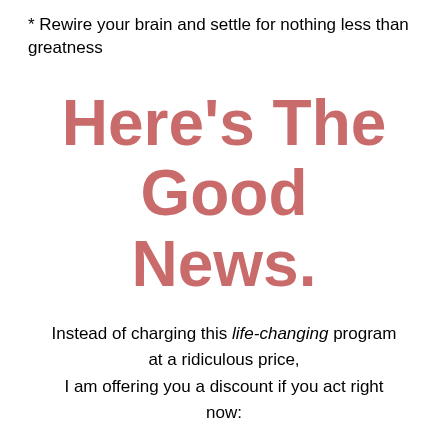* Rewire your brain and settle for nothing less than greatness
Here's The Good News.
Instead of charging this life-changing program at a ridiculous price, I am offering you a discount if you act right now:
For Only
($47.00)